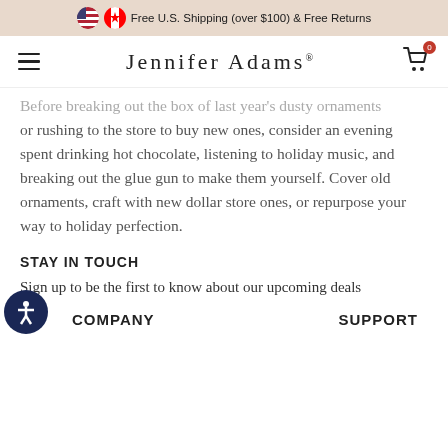Free U.S. Shipping (over $100) & Free Returns
Jennifer Adams
Before breaking out the box of last year's dusty ornaments or rushing to the store to buy new ones, consider an evening spent drinking hot chocolate, listening to holiday music, and breaking out the glue gun to make them yourself. Cover old ornaments, craft with new dollar store ones, or repurpose your way to holiday perfection.
STAY IN TOUCH
Sign up to be the first to know about our upcoming deals
COMPANY
SUPPORT